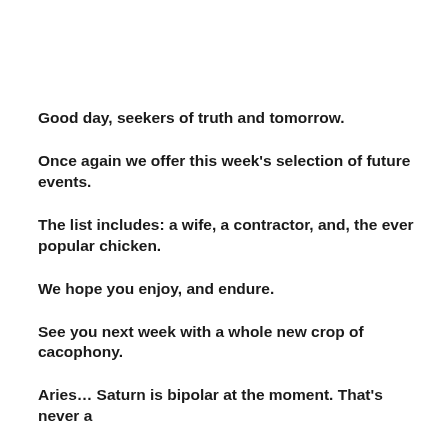Good day, seekers of truth and tomorrow.
Once again we offer this week's selection of future events.
The list includes: a wife, a contractor, and, the ever popular chicken.
We hope you enjoy, and endure.
See you next week with a whole new crop of cacophony.
Aries… Saturn is bipolar at the moment. That's never a